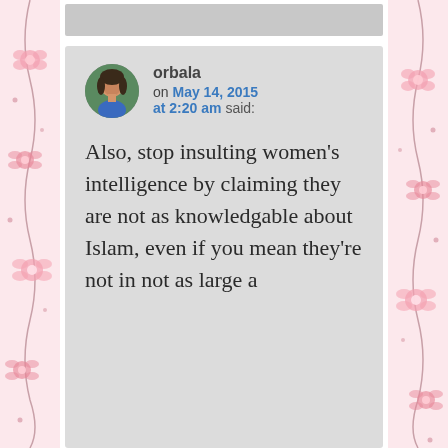[Figure (screenshot): Blog comment screenshot. User 'orbala' with avatar photo posted on May 14, 2015 at 2:20 am. Comment text: 'Also, stop insulting women's intelligence by claiming they are not as knowledgable about Islam, even if you mean they're not in not as large a']